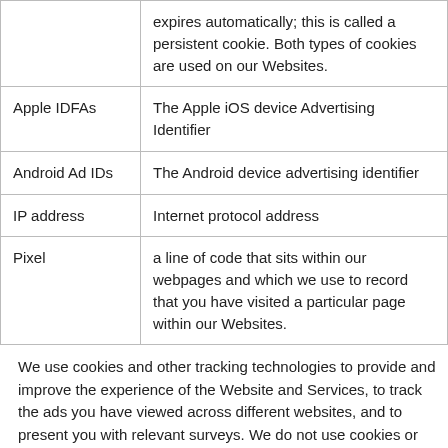| (cookie row continued) | expires automatically; this is called a persistent cookie. Both types of cookies are used on our Websites. |
| Apple IDFAs | The Apple iOS device Advertising Identifier |
| Android Ad IDs | The Android device advertising identifier |
| IP address | Internet protocol address |
| Pixel | a line of code that sits within our webpages and which we use to record that you have visited a particular page within our Websites. |
We use cookies and other tracking technologies to provide and improve the experience of the Website and Services, to track the ads you have viewed across different websites, and to present you with relevant surveys. We do not use cookies or tracking technologies to collect personal data, like your name or e-mail address. Scrutineer does share the survey results with its clients so